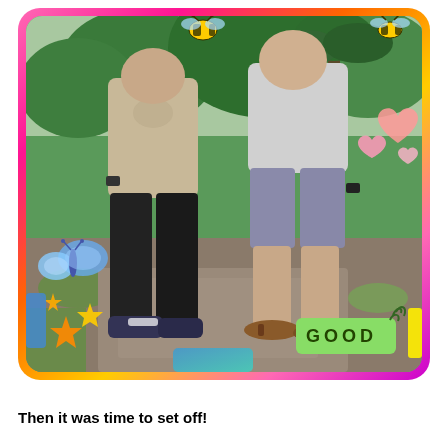[Figure (photo): Two men standing outdoors on rocky ground surrounded by green vegetation. Left person wears a tan/beige graphic t-shirt and black pants with dark sneakers. Right person wears a light grey t-shirt and grey shorts with brown flip-flops. Both wearing watches. Photo is framed with a colorful pink/orange/yellow gradient border with rounded corners. Decorative stickers overlaid: a yellow bee at top center, pink hearts on the right, a blue butterfly on the left, yellow/orange stars at bottom left, a green 'GOOD' label at bottom right, and blue/teal gradient squares at bottom center and left side.]
Then it was time to set off!